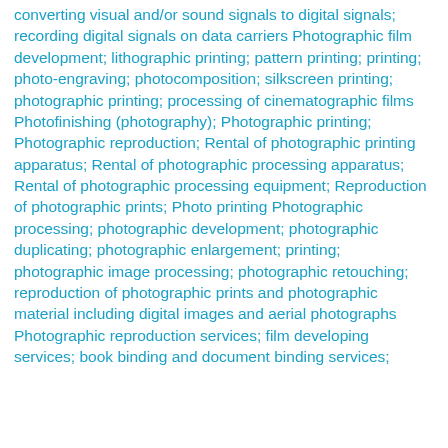converting visual and/or sound signals to digital signals; recording digital signals on data carriers Photographic film development; lithographic printing; pattern printing; printing; photo-engraving; photocomposition; silkscreen printing; photographic printing; processing of cinematographic films Photofinishing (photography); Photographic printing; Photographic reproduction; Rental of photographic printing apparatus; Rental of photographic processing apparatus; Rental of photographic processing equipment; Reproduction of photographic prints; Photo printing Photographic processing; photographic development; photographic duplicating; photographic enlargement; printing; photographic image processing; photographic retouching; reproduction of photographic prints and photographic material including digital images and aerial photographs Photographic reproduction services; film developing services; book binding and document binding services;